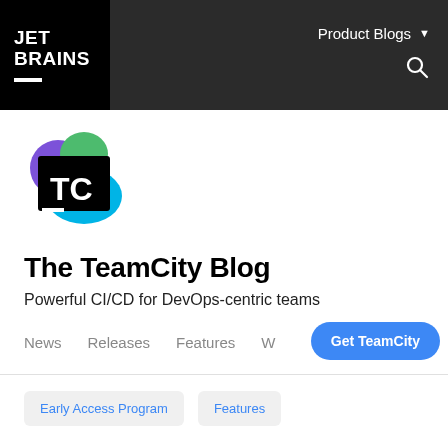JET BRAINS — Product Blogs
[Figure (logo): TeamCity logo: colorful blob shape with black square containing 'TC' in white text]
The TeamCity Blog
Powerful CI/CD for DevOps-centric teams
News
Releases
Features
W
Get TeamCity
Early Access Program
Features